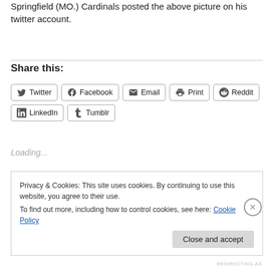Springfield (MO.) Cardinals posted the above picture on his twitter account.
Share this:
[Figure (screenshot): Social share buttons: Twitter, Facebook, Email, Print, Reddit, LinkedIn, Tumblr]
Loading...
Privacy & Cookies: This site uses cookies. By continuing to use this website, you agree to their use.
To find out more, including how to control cookies, see here: Cookie Policy